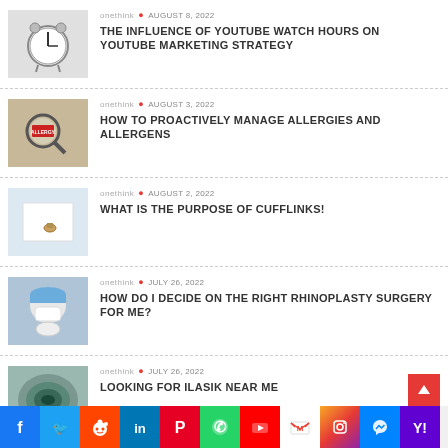onethink • AUGUST 8, 2022 — THE INFLUENCE OF YOUTUBE WATCH HOURS ON YOUTUBE MARKETING STRATEGY
onethink • AUGUST 3, 2022 — HOW TO PROACTIVELY MANAGE ALLERGIES AND ALLERGENS
onethink • AUGUST 2, 2022 — WHAT IS THE PURPOSE OF CUFFLINKS!
onethink • JULY 26, 2022 — HOW DO I DECIDE ON THE RIGHT RHINOPLASTY SURGERY FOR ME?
onethink • JULY 26, 2022 — LOOKING FOR ILASIK NEAR ME
[Figure (infographic): Social media sharing icons bar at bottom: Facebook, Twitter, Reddit, LinkedIn, Pinterest, WhatsApp, YouTube, Gmail, Instagram, Messenger, Yahoo]